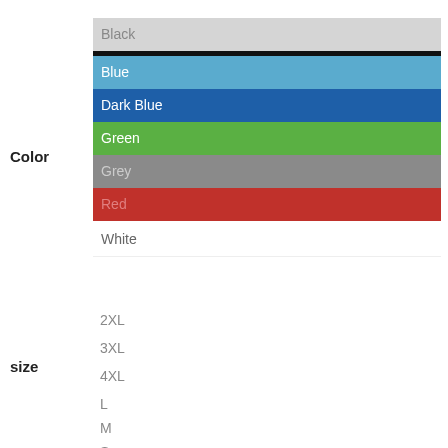Color
Black
Blue
Dark Blue
Green
Grey
Red
White
size
2XL
3XL
4XL
L
M
S
XL
XS
Style
Choose an option
1
ADD TO CART